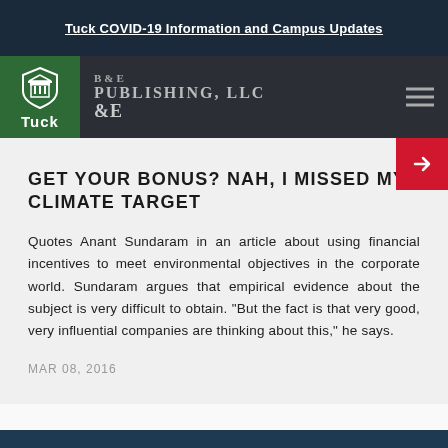Tuck COVID-19 Information and Campus Updates
[Figure (logo): Tuck School of Business at Dartmouth logo — green square with shield icon and 'Tuck' text, alongside B&E Publishing, LLC publisher header on dark background with hamburger menu icon]
GET YOUR BONUS? NAH, I MISSED MY CLIMATE TARGET
Quotes Anant Sundaram in an article about using financial incentives to meet environmental objectives in the corporate world. Sundaram argues that empirical evidence about the subject is very difficult to obtain. "But the fact is that very good, very influential companies are thinking about this," he says.
MAR 08, 2016